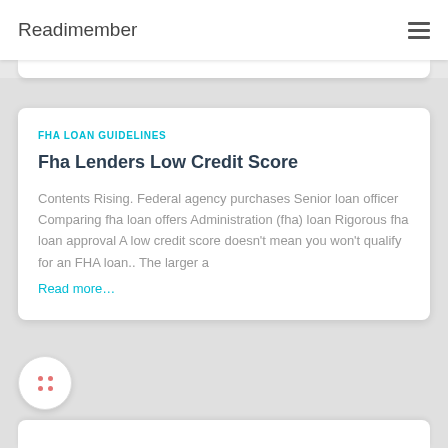Readimember
FHA LOAN GUIDELINES
Fha Lenders Low Credit Score
Contents Rising. Federal agency purchases Senior loan officer Comparing fha loan offers Administration (fha) loan Rigorous fha loan approval A low credit score doesn't mean you won't qualify for an FHA loan.. The larger a
Read more…